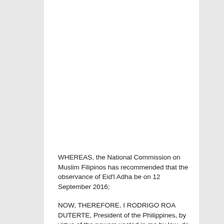WHEREAS, the National Commission on Muslim Filipinos has recommended that the observance of Eid'l Adha be on 12 September 2016;
NOW, THEREFORE, I RODRIGO ROA DUTERTE, President of the Philippines, by virtue of the powers vested in me by law, do hereby declare Monday, 12 September 2016, as a